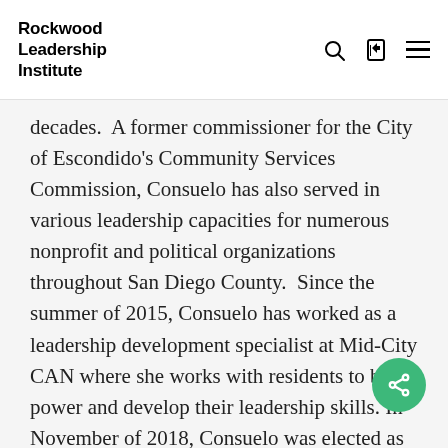Rockwood Leadership Institute
decades.  A former commissioner for the City of Escondido's Community Services Commission, Consuelo has also served in various leadership capacities for numerous nonprofit and political organizations throughout San Diego County.  Since the summer of 2015, Consuelo has worked as a leadership development specialist at Mid-City CAN where she works with residents to build power and develop their leadership skills. In November of 2018, Consuelo was elected as council member in her